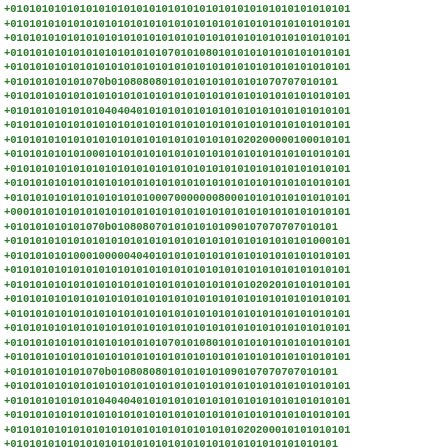+010101010101010101010101010101010101010101010101010101
+010101010101010101010101010101010101010101010101010101
+010101010101010101010101010101010101010101010101010101
+010101010101010101010101070101080101010101010101010101
+010101010101010101010101010101010101010101010101010101
+010101010101070b010808080101010101010101070707010101
+010101010101010101010101010101010101010101010101010101
+010101010101010404040101010101010101010101010101010101
+010101010101010101010101010101010101010101010101010101
+010101010101010101010101010101010101020200000100010101
+010101010101000101010101010101010101010101010101010101
+010101010101010101010101010101010101010101010101010101
+010101010101010101010101010101010101010101010101010101
+010101010101010101010100070000000800010101010101010101
+000101010101010101010101010101010101010101010101010101
+010101010101070b010808070101010101090107070707010101
+010101010101010101010101010101010101010101010101000101
+010101010100010000040401010101010101010101010101010101
+010101010101010101010101010101010101010101010101010101
+010101010101010101010101010101010101010202010101010101
+010101010101010101010101010101010101010101010101010101
+010101010101010101010101010101010101010101010101010101
+010101010101010101010101010101010101010101010101010101
+010101010101010101010101070101080101010101010101010101
+010101010101010101010101010101010101010101010101010101
+010101010101070b010808080101010101090107070707010101
+010101010101010101010101010101010101010101010101010101
+010101010101010404040101010101010101010101010101010101
+010101010101010101010101010101010101010101010101010101
+010101010101010101010101010101010101020200010101010101
+0101010101010101010101010101010101010101010101010101